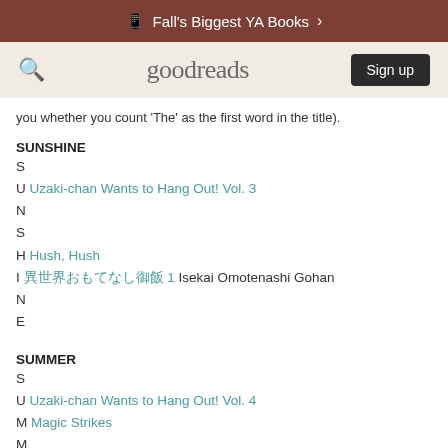Fall's Biggest YA Books
goodreads  Sign up
you whether you count 'The' as the first word in the title).
SUNSHINE
S
U Uzaki-chan Wants to Hang Out! Vol. 3
N
S
H Hush, Hush
I 異世界おもてなし御飯 1 Isekai Omotenashi Gohan
N
E
SUMMER
S
U Uzaki-chan Wants to Hang Out! Vol. 4
M Magic Strikes
M
E
R ...